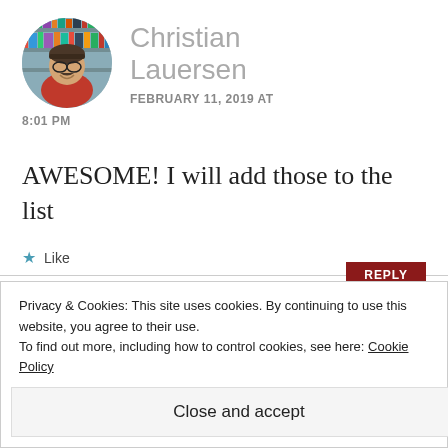[Figure (photo): Circular avatar photo of Christian Lauersen, a smiling man with glasses and a beard wearing a red shirt, standing in front of library bookshelves.]
Christian Lauersen
FEBRUARY 11, 2019 AT 8:01 PM
AWESOME! I will add those to the list
★ Like
REPLY
Privacy & Cookies: This site uses cookies. By continuing to use this website, you agree to their use.
To find out more, including how to control cookies, see here: Cookie Policy
Close and accept